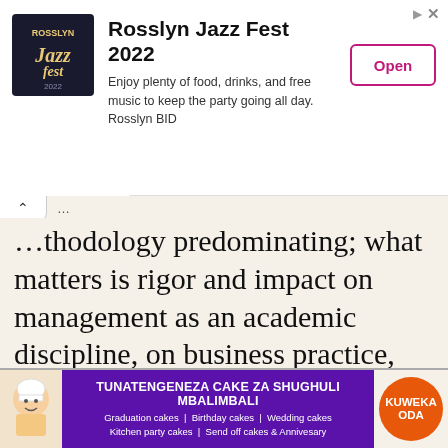[Figure (screenshot): Rosslyn Jazz Fest 2022 advertisement banner with logo, description text, and Open button]
...thodology predominating; what matters is rigor and impact on management as an academic discipline, on business practice, and in the classroom.
[Figure (photo): Photo of a smiling woman with curly hair painting on a canvas with tulips, wearing a blue jacket with Pet Friendly logo]
[Figure (screenshot): Advertisement: TUNATENGENEZA CAKE ZA SHUGHULI MBALIMBALI - Graduation cakes, Birthday cakes, Wedding cakes, Kitchen party cakes, Send off cakes & Annivesary. KUWEKA ODA button.]